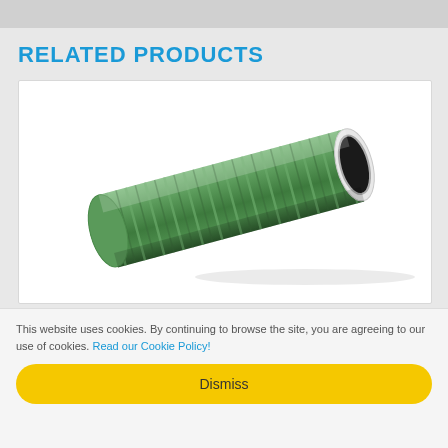RELATED PRODUCTS
[Figure (photo): Green corrugated flexible PVC suction hose with ribbed exterior and dark interior opening visible at one end, shown at an angle on white background]
This website uses cookies. By continuing to browse the site, you are agreeing to our use of cookies. Read our Cookie Policy!
Dismiss